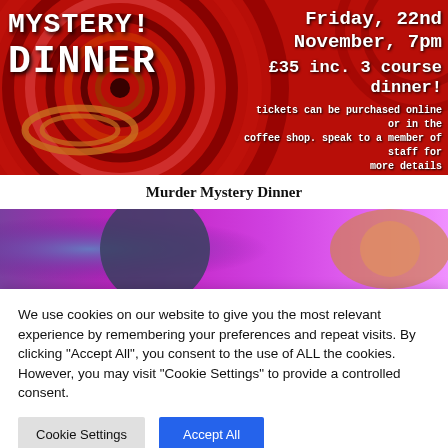[Figure (illustration): Murder Mystery Dinner event banner with red and black spiral background, bold white text reading 'MYSTERY DINNER', date 'Friday, 22nd November, 7pm', price '£35 inc. 3 course dinner!', and ticket purchase info.]
Murder Mystery Dinner
[Figure (photo): Partially visible second event banner with purple/magenta gradient background showing a face and partial text.]
We use cookies on our website to give you the most relevant experience by remembering your preferences and repeat visits. By clicking "Accept All", you consent to the use of ALL the cookies. However, you may visit "Cookie Settings" to provide a controlled consent.
Cookie Settings
Accept All